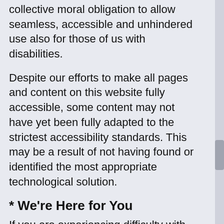collective moral obligation to allow seamless, accessible and unhindered use also for those of us with disabilities.
Despite our efforts to make all pages and content on this website fully accessible, some content may not have yet been fully adapted to the strictest accessibility standards. This may be a result of not having found or identified the most appropriate technological solution.
* We're Here for You
If you are experiencing difficulty with any content on this website, widget, any of its services or require assistance with any part of our site or software, please contact us during normal business hours as detailed below and we will be happy to assist.